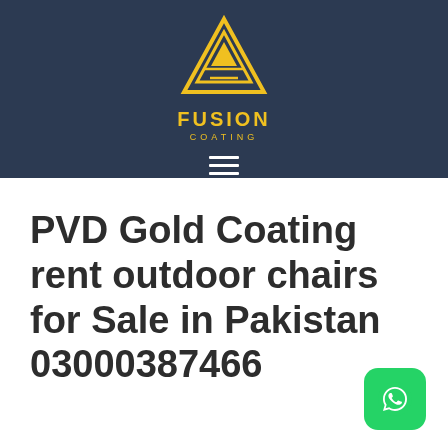[Figure (logo): Fusion Coating logo: yellow geometric triangle/diamond shape above the text 'FUSION' and 'COATING' in yellow, on dark navy background]
PVD Gold Coating rent outdoor chairs for Sale in Pakistan 03000387466
[Figure (logo): WhatsApp green button icon in bottom right corner]